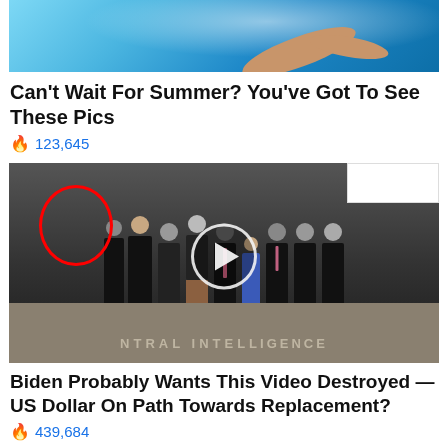[Figure (photo): Swimming photo showing water and arm, cropped at top]
Can't Wait For Summer? You've Got To See These Pics
🔥 123,645
[Figure (photo): Group of men in suits standing in CIA headquarters lobby with CIA seal on floor. One man circled in red. Video play button overlay in center.]
Biden Probably Wants This Video Destroyed — US Dollar On Path Towards Replacement?
🔥 439,684